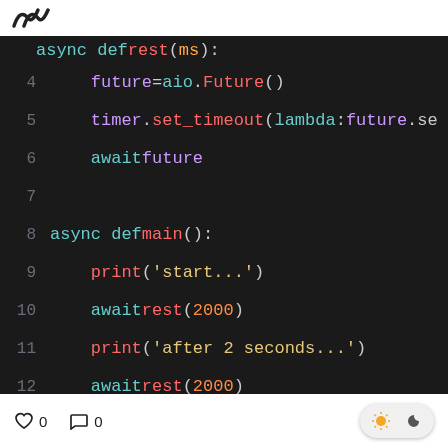Logo / navigation header
[Figure (screenshot): Code editor screenshot showing Python async code with syntax highlighting on dark background. Lines 3-14 visible. Line 3 (partial): async def rest(ms):, Line 4: future = aio.Future(), Line 5: timer.set_timeout(lambda: future.se, Line 6: await future, Line 7: (blank), Line 8: async def main():, Line 9: print('start...'), Line 10: await rest(2000), Line 11: print('after 2 seconds...'), Line 12: await rest(2000), Line 13: print('after 4 seconds...'), Line 14: (partial)]
♡ 0   ◯ 0